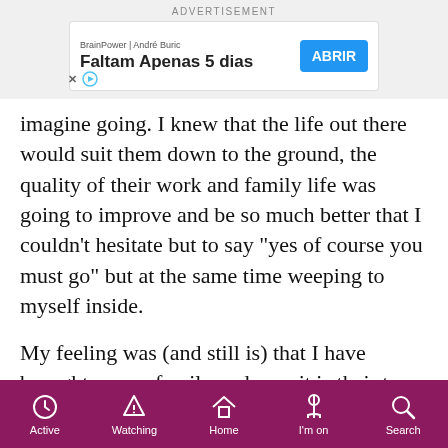ADVERTISEMENT
[Figure (screenshot): Advertisement banner: BrainPower | André Buric - Faltam Apenas 5 dias - ABRIR button]
imagine going. I knew that the life out there would suit them down to the ground, the quality of their work and family life was going to improve and be so much better that I couldn't hesitate but to say "yes of course you must go" but at the same time weeping to myself inside.
My feeling was (and still is) that I have brought up my family and now it is their turn to do the best for their families without any pressure from me. They have settled well out there and now have another daughter, now aged 4 years, who was born out there. They all have NZ citizenship which means should they want to
Active  Watching  Home  I'm on  Search